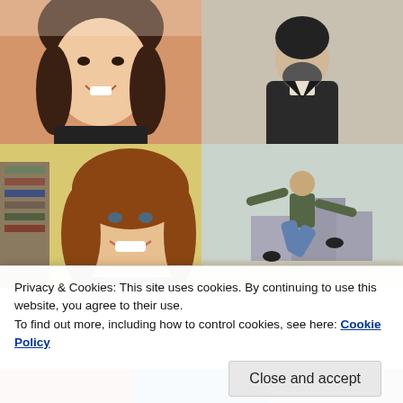[Figure (photo): Grid of four photos: top-left is a young Asian woman smiling (selfie); top-right is a black-and-white historical photo of a man in dark coat; bottom-left is a woman with red-brown hair smiling in front of a bookshelf; bottom-right is a man jumping/dancing outdoors on a city street.]
Privacy & Cookies: This site uses cookies. By continuing to use this website, you agree to their use.
To find out more, including how to control cookies, see here: Cookie Policy
Close and accept
[Figure (photo): Partial view of a bottom strip showing colorful profile pictures/thumbnails, partially cut off.]